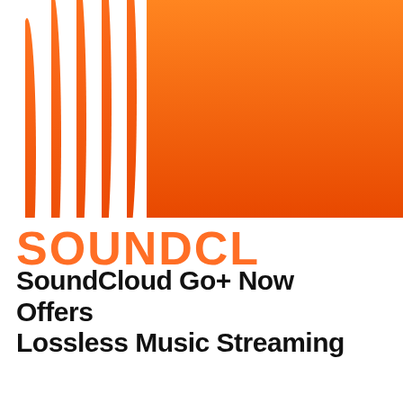[Figure (logo): SoundCloud logo — orange gradient waveform bars on the left transitioning to a solid orange rectangle on the right, cropped at bottom]
SoundCloud Go+ Now Offers Lossless Music Streaming